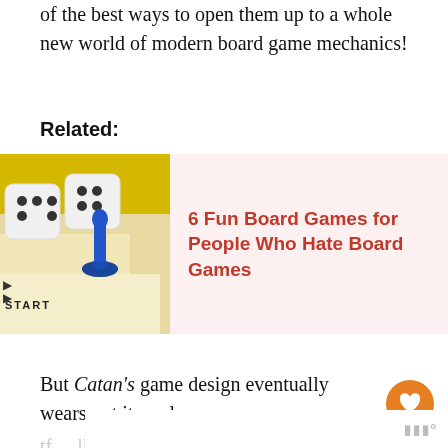of the best ways to open them up to a whole new world of modern board game mechanics!
Related:
[Figure (photo): Photo of board game pieces including dice and a blue token pawn on a board showing the word START]
6 Fun Board Games for People Who Hate Board Games
But Catan's game design eventually wears out its welcome.
(truncated/partially visible text)